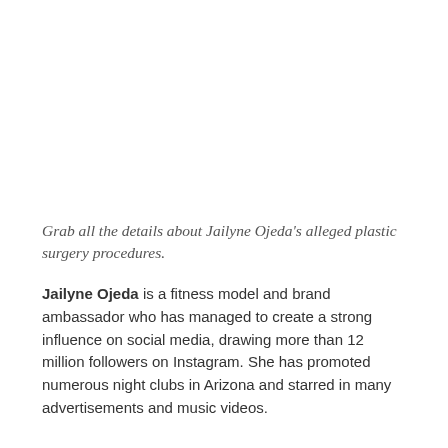Grab all the details about Jailyne Ojeda's alleged plastic surgery procedures.
Jailyne Ojeda is a fitness model and brand ambassador who has managed to create a strong influence on social media, drawing more than 12 million followers on Instagram. She has promoted numerous night clubs in Arizona and starred in many advertisements and music videos.